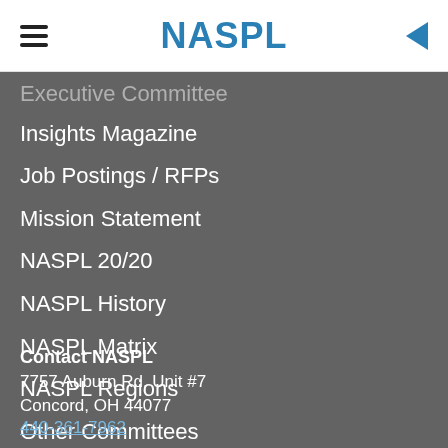NASPL
Executive Committee
Insights Magazine
Job Postings / RFPs
Mission Statement
NASPL 20/20
NASPL History
NASPL Matrix
NASPL Regions
Other Committees
Other Lottery Organizations
Standards and Best Practices
Contact NASPL
7757 Auburn Rd. Unit #7
Concord, OH 44077
440-361-7962